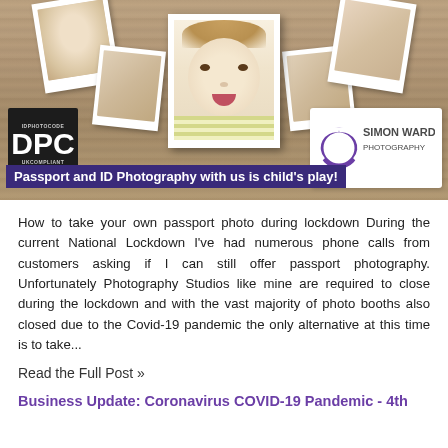[Figure (photo): Banner image showing passport photos of a baby/child on a wooden background, with DPC (ID Photo Code UK Compliant) badge on left and Simon Ward Photography logo on right. Text overlay reads 'Passport and ID Photography with us is child's play!']
How to take your own passport photo during lockdown During the current National Lockdown I've had numerous phone calls from customers asking if I can still offer passport photography. Unfortunately Photography Studios like mine are required to close during the lockdown and with the vast majority of photo booths also closed due to the Covid-19 pandemic the only alternative at this time is to take...
Read the Full Post »
Business Update: Coronavirus COVID-19 Pandemic - 4th